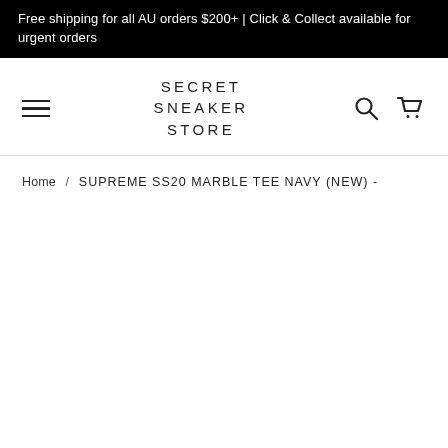Free shipping for all AU orders $200+ | Click & Collect available for urgent orders
SECRET SNEAKER STORE
Home / SUPREME SS20 MARBLE TEE NAVY (NEW) -